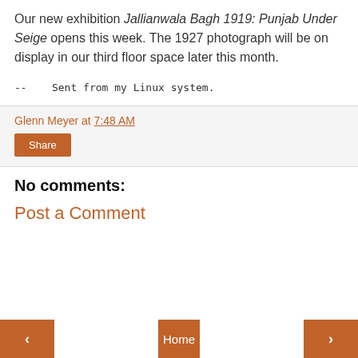Our new exhibition Jallianwala Bagh 1919: Punjab Under Seige opens this week. The 1927 photograph will be on display in our third floor space later this month.
--    Sent from my Linux system.
Glenn Meyer at 7:48 AM
Share
No comments:
Post a Comment
< Home >